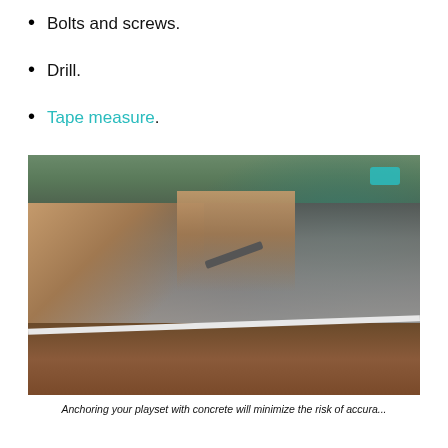Bolts and screws.
Drill.
Tape measure.
[Figure (photo): Workers constructing a structure with gravel/aggregate, a white pipe or board, and a hammer. Multiple people visible working with hands and tools at ground level.]
Anchoring your playset with concrete will minimize the risk of accura...